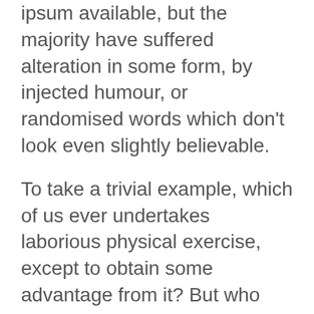ipsum available, but the majority have suffered alteration in some form, by injected humour, or randomised words which don't look even slightly believable.
To take a trivial example, which of us ever undertakes laborious physical exercise, except to obtain some advantage from it? But who has any right to find fault with a man who chooses to enjoy a pleasure that has no annoying consequences, or one who avoids a pain that produces no resultant pleasure[/fusion_text] [/fusion_builder_column] [fusion_builder_column type=»1_3″ layout=»1_3″ last=»yes » spacing=»yes » center_content=»no » hide_on_mobile=»no » background_color=»#ffffff »